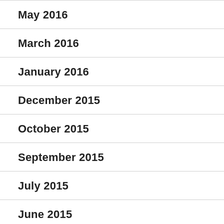May 2016
March 2016
January 2016
December 2015
October 2015
September 2015
July 2015
June 2015